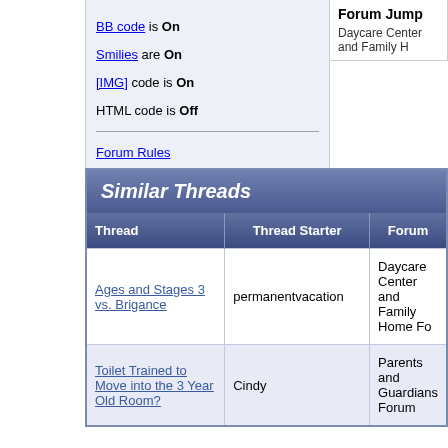BB code is On
Smilies are On
[IMG] code is On
HTML code is Off
Forum Rules
Forum Jump
Daycare Center and Family H
Similar Threads
| Thread | Thread Starter | Forum |
| --- | --- | --- |
| Ages and Stages 3 vs. Brigance | permanentvacation | Daycare Center and Family Home Fo... |
| Toilet Trained to Move into the 3 Year Old Room? | Cindy | Parents and Guardians Forum |